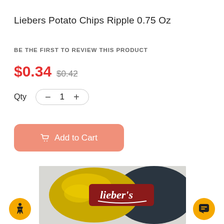Liebers Potato Chips Ripple 0.75 Oz
BE THE FIRST TO REVIEW THIS PRODUCT
$0.34 $0.42
Qty  −  1  +
Add to Cart
[Figure (photo): Product photo of Liebers potato chips bag, partially visible, with gold/yellow and dark packaging showing the Lieber's brand logo in red and white]